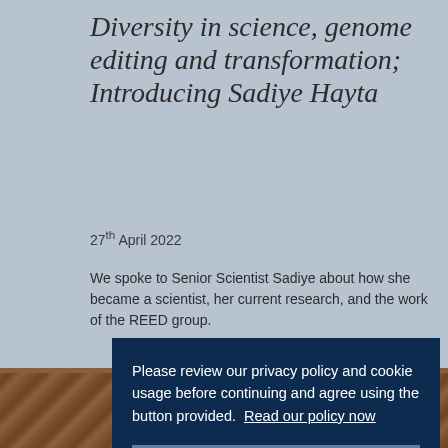Diversity in science, genome editing and transformation; Introducing Sadiye Hayta
27th April 2022
We spoke to Senior Scientist Sadiye about how she became a scientist, her current research, and the work of the REED group.
Read the story
Please review our privacy policy and cookie usage before continuing and agree using the button provided.  Read our policy now
Agree
[Figure (photo): Photo strip at bottom of page showing corn/plant material in warm brown tones]